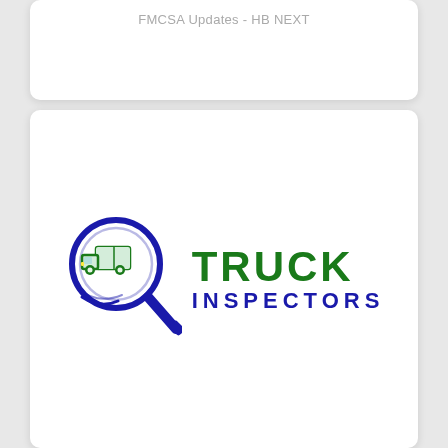FMCSA Updates - HB NEXT
[Figure (logo): Truck Inspectors logo: a magnifying glass with a green truck inside (blue outline), next to bold green text 'TRUCK' and blue text 'INSPECTORS']